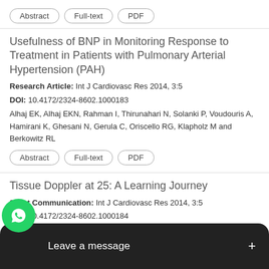[Abstract] [Full-text] [PDF] (buttons for previous article)
Usefulness of BNP in Monitoring Response to Treatment in Patients with Pulmonary Arterial Hypertension (PAH)
Research Article: Int J Cardiovasc Res 2014, 3:5
DOI: 10.4172/2324-8602.1000183
Alhaj EK, Alhaj EKN, Rahman I, Thirunahari N, Solanki P, Voudouris A, Hamirani K, Ghesani N, Gerula C, Oriscello RG, Klapholz M and Berkowitz RL
[Abstract] [Full-text] [PDF]
Tissue Doppler at 25: A Learning Journey
Short Communication: Int J Cardiovasc Res 2014, 3:5
DOI: 10.4172/2324-8602.1000184
George Thomas
[Abstract] [Full-text] [PDF]
Risk... ...ular Diseases (partially visible, obscured by overlay)